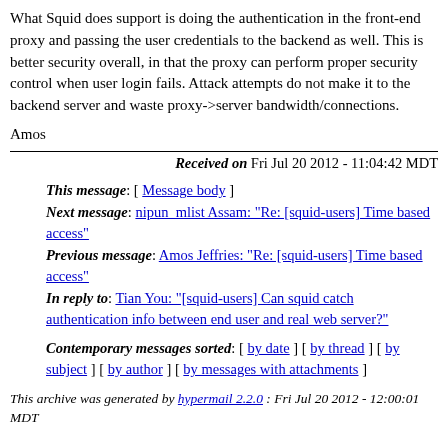What Squid does support is doing the authentication in the front-end proxy and passing the user credentials to the backend as well. This is better security overall, in that the proxy can perform proper security control when user login fails. Attack attempts do not make it to the backend server and waste proxy->server bandwidth/connections.
Amos
Received on Fri Jul 20 2012 - 11:04:42 MDT
This message: [ Message body ]
Next message: nipun_mlist Assam: "Re: [squid-users] Time based access"
Previous message: Amos Jeffries: "Re: [squid-users] Time based access"
In reply to: Tian You: "[squid-users] Can squid catch authentication info between end user and real web server?"
Contemporary messages sorted: [ by date ] [ by thread ] [ by subject ] [ by author ] [ by messages with attachments ]
This archive was generated by hypermail 2.2.0 : Fri Jul 20 2012 - 12:00:01 MDT